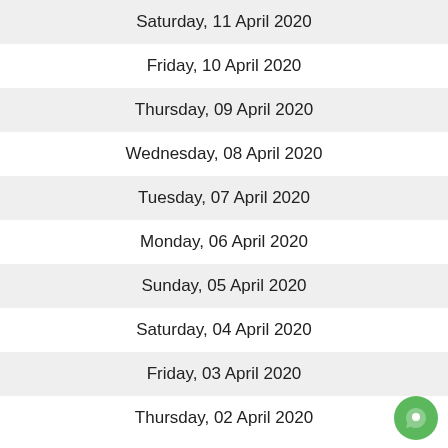Saturday, 11 April 2020
Friday, 10 April 2020
Thursday, 09 April 2020
Wednesday, 08 April 2020
Tuesday, 07 April 2020
Monday, 06 April 2020
Sunday, 05 April 2020
Saturday, 04 April 2020
Friday, 03 April 2020
Thursday, 02 April 2020